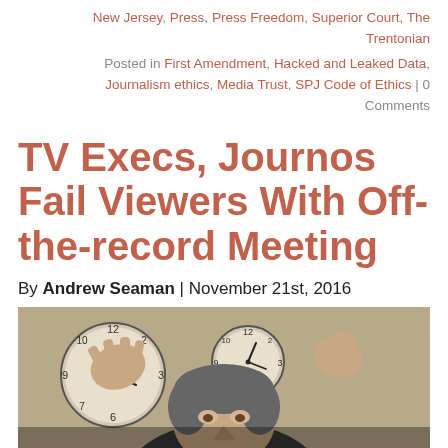New Jersey, Press, Press Freedom, Superior Court, The Trentonian
Posted in First Amendment, Hacked and Leaked Data, Journalism ethics, Media Trust, SPJ Code of Ethics | 0 Comments
TV Execs, Journos Fail Viewers With Off-the-record Meeting
By Andrew Seaman | November 21st, 2016
[Figure (photo): A man with raised hands gesturing in front of analog clocks on a wall, viewed from a low angle showing his face and hands.]